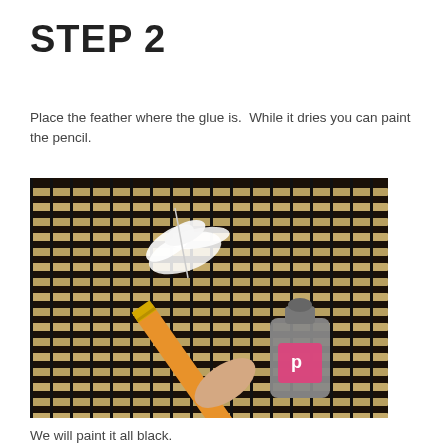STEP 2
Place the feather where the glue is.  While it dries you can paint the pencil.
[Figure (photo): A photograph showing a white feather attached to the eraser end of an orange pencil with a gold ferrule, placed on a bamboo mat background. A gray-capped pink glue bottle is being applied to the pencil near the feather attachment point. A hand holds the pencil from below.]
We will paint it all black.